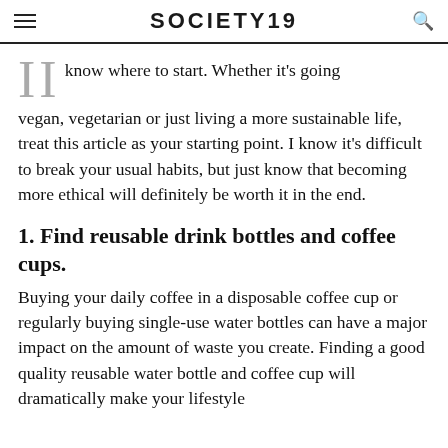SOCIETY19
know where to start. Whether it's going vegan, vegetarian or just living a more sustainable life, treat this article as your starting point. I know it's difficult to break your usual habits, but just know that becoming more ethical will definitely be worth it in the end.
1. Find reusable drink bottles and coffee cups.
Buying your daily coffee in a disposable coffee cup or regularly buying single-use water bottles can have a major impact on the amount of waste you create. Finding a good quality reusable water bottle and coffee cup will dramatically make your lifestyle